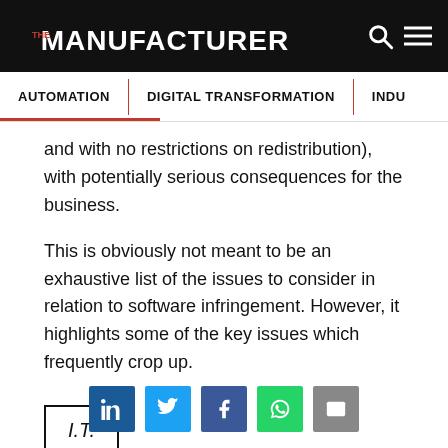THE MANUFACTURER | AUTOMATION | DIGITAL TRANSFORMATION | INDU...
and with no restrictions on redistribution), with potentially serious consequences for the business.
This is obviously not meant to be an exhaustive list of the issues to consider in relation to software infringement. However, it highlights some of the key issues which frequently crop up.
I.T.
[Figure (other): Social share buttons: LinkedIn, Twitter, Facebook, WhatsApp, Email]